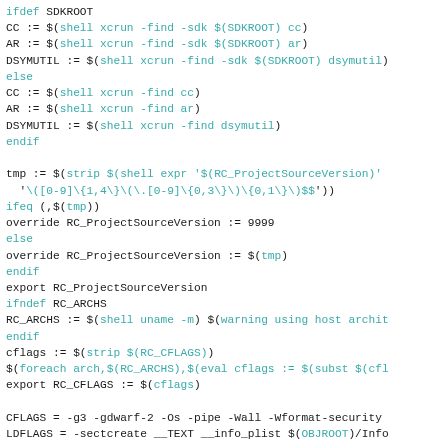Makefile code snippet showing compiler and build variable definitions including SDKROOT checks, RC_ProjectSourceVersion, RC_ARCHS, CFLAGS, LDFLAGS, STRIP, and submakevars settings.